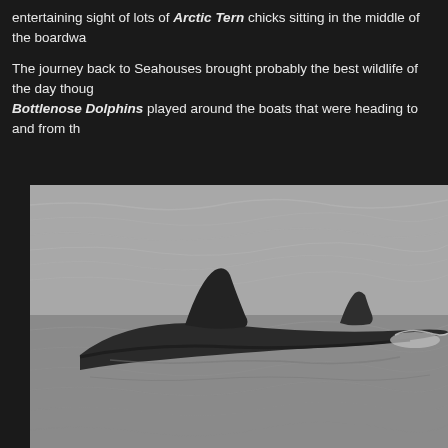entertaining sight of lots of Arctic Tern chicks sitting in the middle of the boardwa...
The journey back to Seahouses brought probably the best wildlife of the day thoug... Bottlenose Dolphins played around the boats that were heading to and from th...
[Figure (photo): Black and white photograph of Bottlenose Dolphins swimming at the ocean surface, showing dorsal fins and the back of a dolphin clearly visible above choppy grey water.]